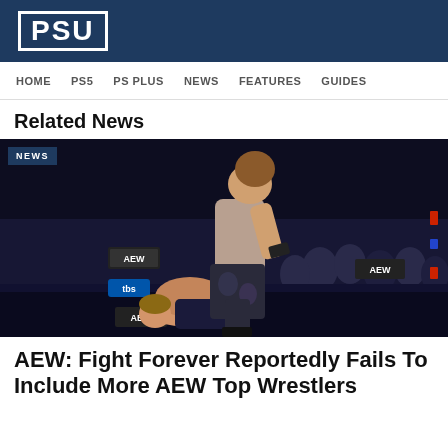PSU
HOME  PS5  PS PLUS  NEWS  FEATURES  GUIDES
Related News
[Figure (photo): AEW wrestling game screenshot showing two wrestlers in a ring with AEW and TBS branding visible. One wrestler is on the mat while another stands over them.]
AEW: Fight Forever Reportedly Fails To Include More AEW Top Wrestlers